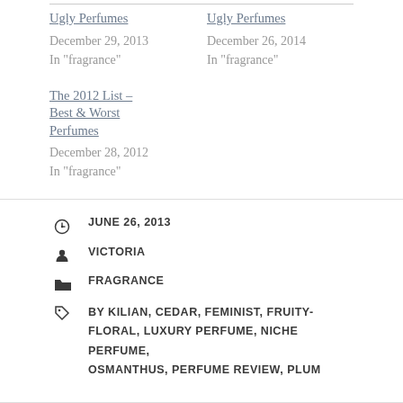Ugly Perfumes
December 29, 2013
In "fragrance"
Ugly Perfumes
December 26, 2014
In "fragrance"
The 2012 List – Best & Worst Perfumes
December 28, 2012
In "fragrance"
JUNE 26, 2013
VICTORIA
FRAGRANCE
BY KILIAN, CEDAR, FEMINIST, FRUITY-FLORAL, LUXURY PERFUME, NICHE PERFUME, OSMANTHUS, PERFUME REVIEW, PLUM